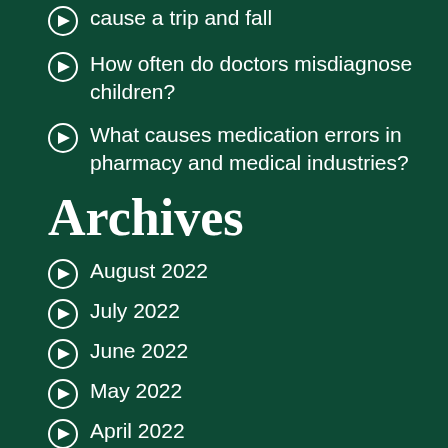cause a trip and fall
How often do doctors misdiagnose children?
What causes medication errors in pharmacy and medical industries?
Archives
August 2022
July 2022
June 2022
May 2022
April 2022
March 2022